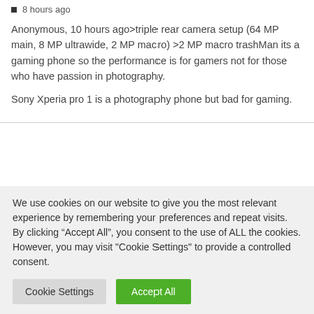8 hours ago
Anonymous, 10 hours ago>triple rear camera setup (64 MP main, 8 MP ultrawide, 2 MP macro) >2 MP macro trashMan its a gaming phone so the performance is for gamers not for those who have passion in photography.
Sony Xperia pro 1 is a photography phone but bad for gaming.
We use cookies on our website to give you the most relevant experience by remembering your preferences and repeat visits. By clicking “Accept All”, you consent to the use of ALL the cookies. However, you may visit "Cookie Settings" to provide a controlled consent.